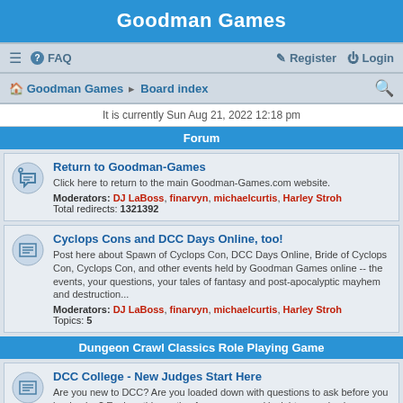Goodman Games
≡  FAQ  Register  Login
Goodman Games · Board index
It is currently Sun Aug 21, 2022 12:18 pm
Forum
Return to Goodman-Games
Click here to return to the main Goodman-Games.com website.
Moderators: DJ LaBoss, finarvyn, michaelcurtis, Harley Stroh
Total redirects: 1321392
Cyclops Cons and DCC Days Online, too!
Post here about Spawn of Cyclops Con, DCC Days Online, Bride of Cyclops Con, Cyclops Con, and other events held by Goodman Games online -- the events, your questions, your tales of fantasy and post-apocalyptic mayhem and destruction...
Moderators: DJ LaBoss, finarvyn, michaelcurtis, Harley Stroh
Topics: 5
Dungeon Crawl Classics Role Playing Game
DCC College - New Judges Start Here
Are you new to DCC? Are you loaded down with questions to ask before you begin play? Explore this section for answers and insights -- and ask your own questions -- about getting started with the Dungeon Crawl Classics Roleplaying Game...
Moderators: DJ LaBoss, finarvyn, michaelcurtis, Harley Stroh